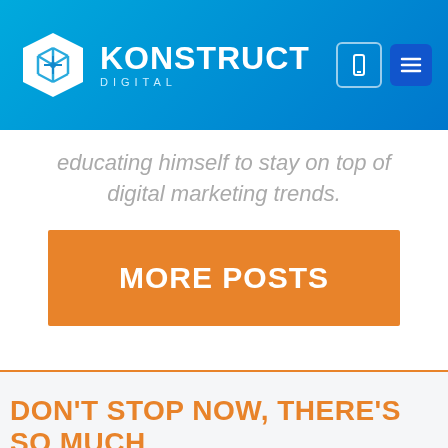[Figure (logo): Konstruct Digital logo with white box icon and text on blue gradient header]
educating himself to stay on top of digital marketing trends.
MORE POSTS
DON'T STOP NOW, THERE'S SO MUCH